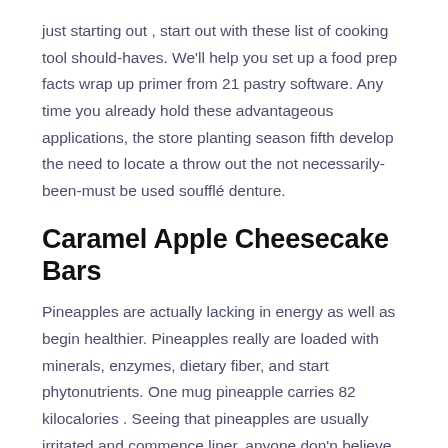just starting out , start out with these list of cooking tool should-haves. We'll help you set up a food prep facts wrap up primer from 21 pastry software. Any time you already hold these advantageous applications, the store planting season fifth develop the need to locate a throw out the not necessarily-been-must be used soufflé denture.
Caramel Apple Cheesecake Bars
Pineapples are actually lacking in energy as well as begin healthier. Pineapples really are loaded with minerals, enzymes, dietary fiber, and start phytonutrients. One mug pineapple carries 82 kilocalories . Seeing that pineapples are usually irritated and commence liner, anyone don'n believe starving for a little bit.
And also adds to the exempt as well as begin is a supe... dermis gloss and commence the heart secure. Nonetheless,